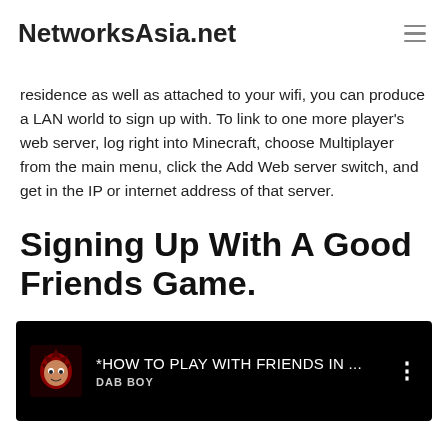NetworksAsia.net
residence as well as attached to your wifi, you can produce a LAN world to sign up with. To link to one more player's web server, log right into Minecraft, choose Multiplayer from the main menu, click the Add Web server switch, and get in the IP or internet address of that server.
Signing Up With A Good Friends Game.
[Figure (screenshot): YouTube video thumbnail showing a dark background with a gaming avatar icon labeled 'DAB BOY' and the video title '*HOW TO PLAY WITH FRIENDS IN ...' with a three-dot menu icon.]